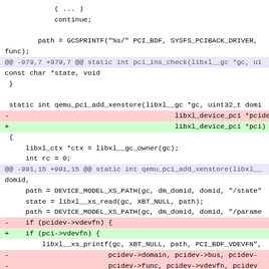Code diff showing changes to pci_ins_check and qemu_pci_add_xenstore functions, renaming pcidev parameter to pci and related variable references.